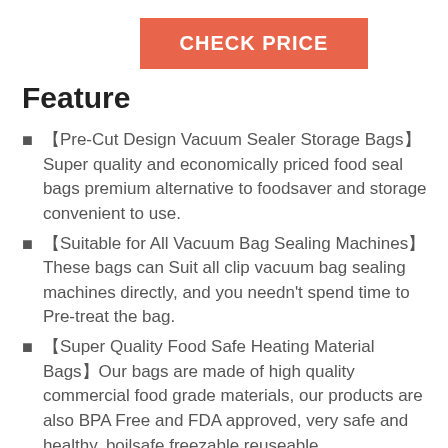[Figure (other): Orange 'CHECK PRICE' button centered near top of page]
Feature
【Pre-Cut Design Vacuum Sealer Storage Bags】Super quality and economically priced food seal bags premium alternative to foodsaver and storage convenient to use.
【Suitable for All Vacuum Bag Sealing Machines】 These bags can Suit all clip vacuum bag sealing machines directly, and you needn't spend time to Pre-treat the bag.
【Super Quality Food Safe Heating Material Bags】Our bags are made of high quality commercial food grade materials, our products are also BPA Free and FDA approved, very safe and healthy, boilsafe,freezable,reuseable.